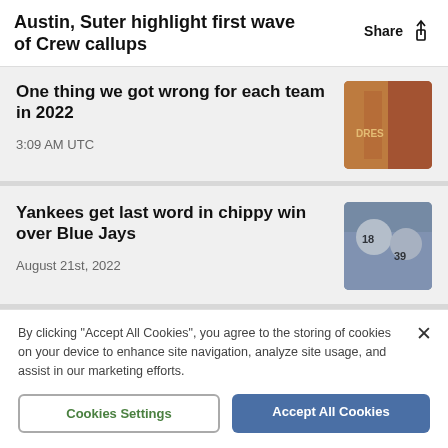Austin, Suter highlight first wave of Crew callups
One thing we got wrong for each team in 2022
3:09 AM UTC
Yankees get last word in chippy win over Blue Jays
August 21st, 2022
By clicking "Accept All Cookies", you agree to the storing of cookies on your device to enhance site navigation, analyze site usage, and assist in our marketing efforts.
Cookies Settings
Accept All Cookies